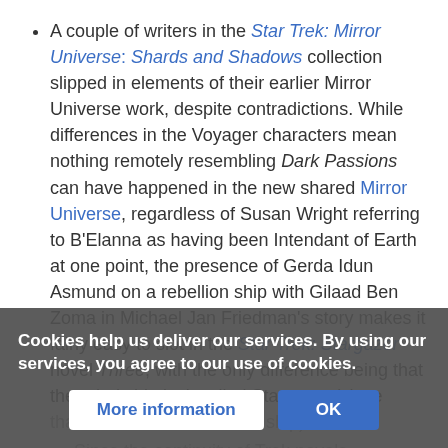A couple of writers in the Star Trek: Mirror Universe: Shards and Shadows collection slipped in elements of their earlier Mirror Universe work, despite contradictions. While differences in the Voyager characters mean nothing remotely resembling Dark Passions can have happened in the new shared Mirror Universe, regardless of Susan Wright referring to B'Elanna as having been Intendant of Earth at one point, the presence of Gerda Idun Asmund on a rebellion ship with Gilaad Ben Zoma in Michael Jan Friedman's story makes it fairly easy to slot in the Star Trek: Stargazer novel Three, with the only difference being that the rebel ship isn't called Stargazer (since that's the name of Picard's ship).
Since the continuity of Trek novels tightened up (around ... ) Strokes has
Cookies help us deliver our services. By using our services, you agree to our use of cookies.